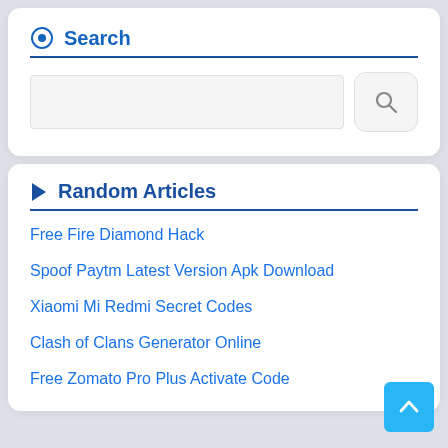Search
[Figure (screenshot): Search input box with a search button]
Random Articles
Free Fire Diamond Hack
Spoof Paytm Latest Version Apk Download
Xiaomi Mi Redmi Secret Codes
Clash of Clans Generator Online
Free Zomato Pro Plus Activate Code